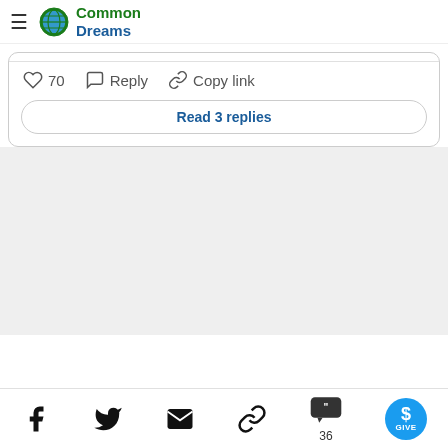Common Dreams
70   Reply   Copy link
Read 3 replies
Facebook  Twitter  Email  Copy link  36 comments  GIVE